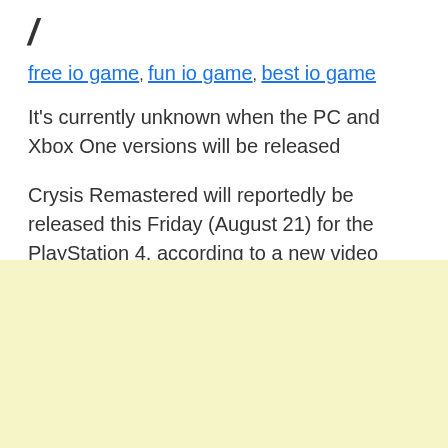/
free io game, fun io game, best io game
It's currently unknown when the PC and Xbox One versions will be released
Crysis Remastered will reportedly be released this Friday (August 21) for the PlayStation 4, according to a new video roundup of upcoming releases.
[Figure (other): Yellow/cream colored advertisement block at the bottom of the page]